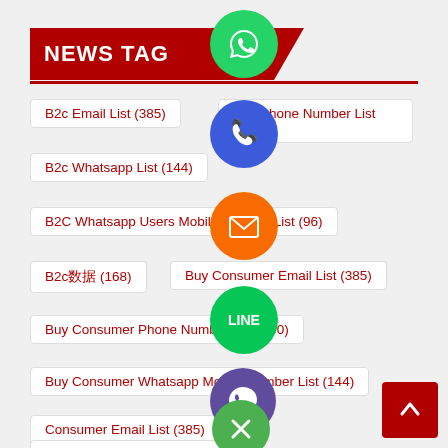NEWS TAG
B2c Email List (385)
B2c Phone Number List (203)
B2c Whatsapp List (144)
B2C Whatsapp Users Mobile Number List (96)
B2c数据 (168)
Buy Consumer Email List (385)
Buy Consumer Phone Number List (190)
Buy Consumer Whatsapp Mobile Number List (144)
Cell Phone Number List
Consumer Email Database (385)
Consumer Email List (385)
Consumer Phone List (342)